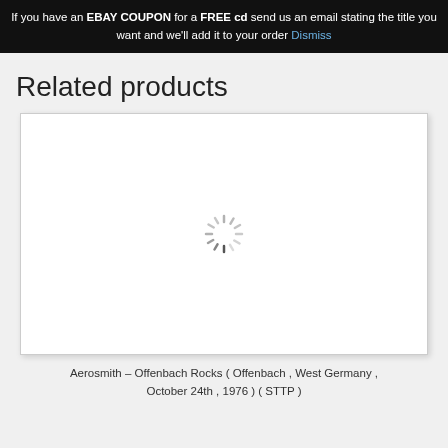If you have an EBAY COUPON for a FREE cd send us an email stating the title you want and we'll add it to your order Dismiss
Related products
[Figure (other): Loading spinner graphic (spinning circle of dashes) inside a white product card]
Aerosmith – Offenbach Rocks ( Offenbach , West Germany , October 24th , 1976 ) ( STTP )